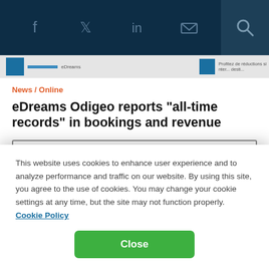Social nav bar with icons: Facebook, Twitter, LinkedIn, Email, Search
[Figure (screenshot): Banner ad strip with blue squares and small French text: Profitez de réductions s...]
News / Online
eDreams Odigeo reports "all-time records" in bookings and revenue
Event Calendar
This website uses cookies to enhance user experience and to analyze performance and traffic on our website. By using this site, you agree to the use of cookies. You may change your cookie settings at any time, but the site may not function properly.  Cookie Policy
Close